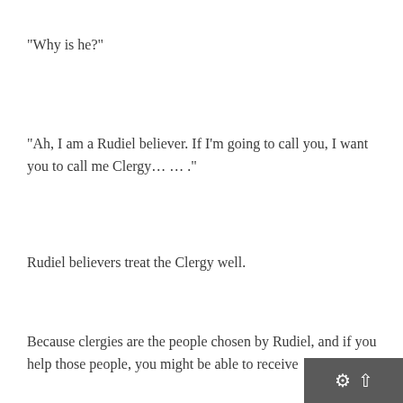“Why is he?”
“Ah, I am a Rudiel believer. If I’m going to call you, I want you to call me Clergy… … .”
Rudiel believers treat the Clergy well.
Because clergies are the people chosen by Rudiel, and if you help those people, you might be able to receive